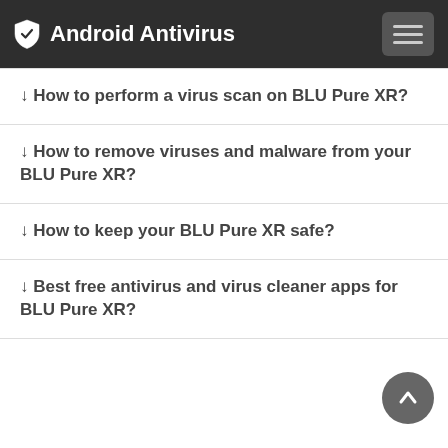Android Antivirus
↓ How to perform a virus scan on BLU Pure XR?
↓ How to remove viruses and malware from your BLU Pure XR?
↓ How to keep your BLU Pure XR safe?
↓ Best free antivirus and virus cleaner apps for BLU Pure XR?